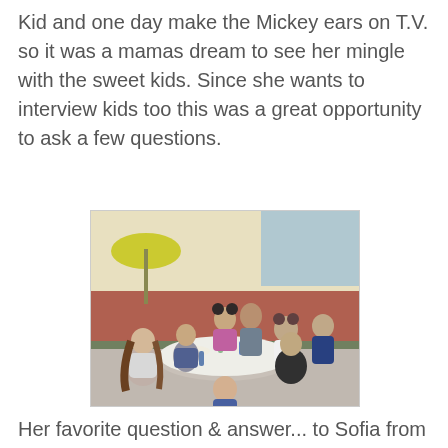Kid and one day make the Mickey ears on T.V. so it was a mamas dream to see her mingle with the sweet kids. Since she wants to interview kids too this was a great opportunity to ask a few questions.
[Figure (photo): Group of children sitting and standing around an outdoor round table with plates, bottles, and food. Background shows a building exterior with a yellow umbrella.]
Her favorite question & answer... to Sofia from Andi